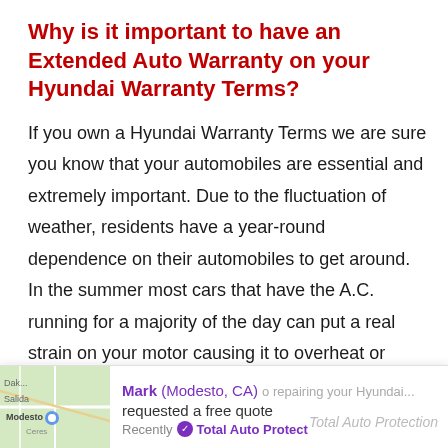Why is it important to have an Extended Auto Warranty on your Hyundai Warranty Terms?
If you own a Hyundai Warranty Terms we are sure you know that your automobiles are essential and extremely important. Due to the fluctuation of weather, residents have a year-round dependence on their automobiles to get around. In the summer most cars that have the A.C. running for a majority of the day can put a real strain on your motor causing it to overheat or worse. In the winter most cars have trouble just starting up. Avoid the hassle and repair cost
Mark (Modesto, CA) requested a free quote Recently ✓ Total Auto Protect ... o repairing your Hyundai... Total Auto Protection